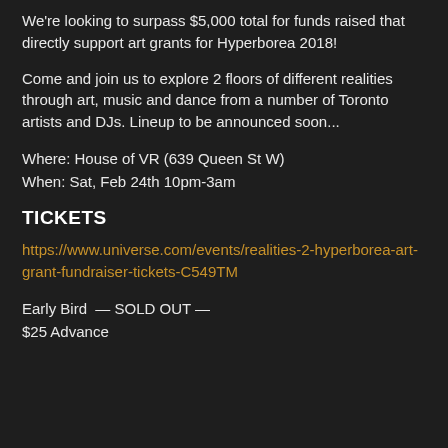We're looking to surpass $5,000 total for funds raised that directly support art grants for Hyperborea 2018!
Come and join us to explore 2 floors of different realities through art, music and dance from a number of Toronto artists and DJs. Lineup to be announced soon...
Where: House of VR (639 Queen St W)
When: Sat, Feb 24th 10pm-3am
TICKETS
https://www.universe.com/events/realities-2-hyperborea-art-grant-fundraiser-tickets-C549TM
Early Bird  — SOLD OUT —
$25 Advance